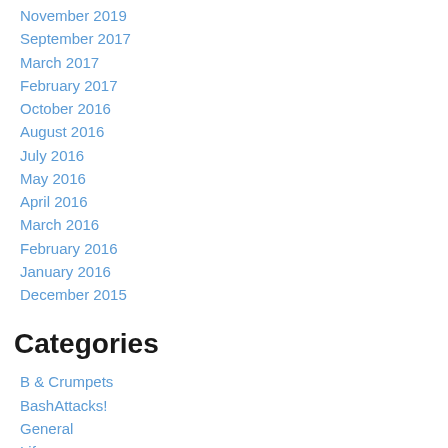November 2019
September 2017
March 2017
February 2017
October 2016
August 2016
July 2016
May 2016
April 2016
March 2016
February 2016
January 2016
December 2015
Categories
B & Crumpets
BashAttacks!
General
Life
Other
Recipes